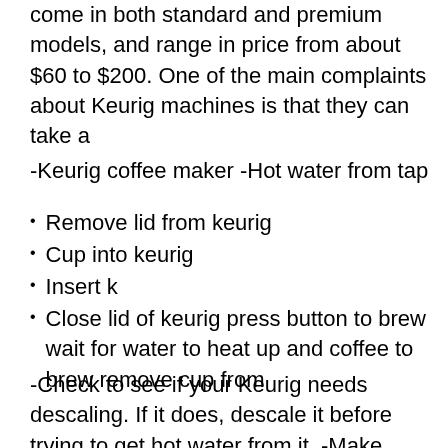come in both standard and premium models, and range in price from about $60 to $200. One of the main complaints about Keurig machines is that they can take a
-Keurig coffee maker -Hot water from tap
Remove lid from keurig
Cup into keurig
Insert k
Close lid of keurig press button to brew wait for water to heat up and coffee to brew remove cup from
-Check to see if your Keurig needs descaling. If it does, descale it before trying to get hot water from it. -Make sure the water reservoir is full. -If you have a Keurig 2.0, make sure